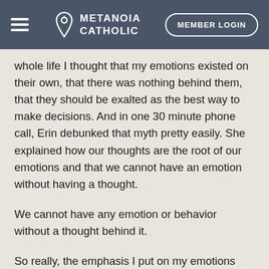METANOIA CATHOLIC | MEMBER LOGIN
whole life I thought that my emotions existed on their own, that there was nothing behind them, that they should be exalted as the best way to make decisions. And in one 30 minute phone call, Erin debunked that myth pretty easily. She explained how our thoughts are the root of our emotions and that we cannot have an emotion without having a thought.
We cannot have any emotion or behavior without a thought behind it.
So really, the emphasis I put on my emotions and not my intellect, reason and will, was a bit dehumanizing. I was living a counterfeit life, short of the way God has designed me to live – a full life of exuberant joy! When put in the